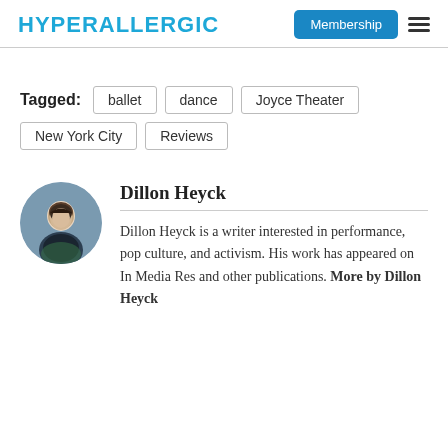HYPERALLERGIC | Membership
Tagged: ballet dance Joyce Theater New York City Reviews
[Figure (photo): Circular profile photo of Dillon Heyck, a young man in a dark shirt with trees in the background]
Dillon Heyck
Dillon Heyck is a writer interested in performance, pop culture, and activism. His work has appeared on In Media Res and other publications. More by Dillon Heyck